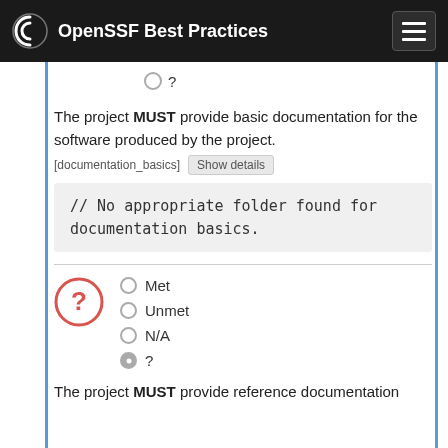OpenSSF Best Practices
?
The project MUST provide basic documentation for the software produced by the project. [documentation_basics] Show details
// No appropriate folder found for documentation basics.
Met
Unmet
N/A
?
The project MUST provide reference documentation